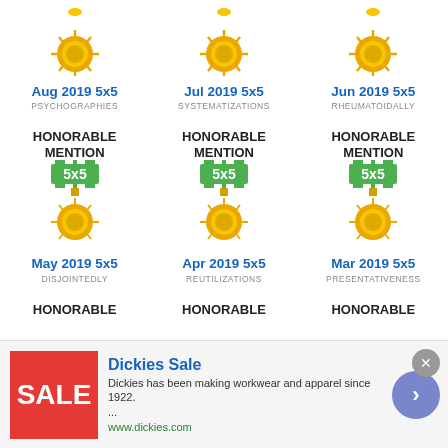[Figure (illustration): Three gold star/sun medals hanging from ribbons at the top of the page]
Aug 2019 5x5
PSYCHOGRAPHIES
Jul 2019 5x5
SYSTEMATIZATIONS
Jun 2019 5x5
RHEUMATOIDALLY
HONORABLE
MENTION
HONORABLE
MENTION
HONORABLE
MENTION
[Figure (illustration): Three 5x5 honorable mention badges with green/white ribbon and gold medallion]
May 2019 5x5
DISJOINTEDLY
Apr 2019 5x5
REUTILIZATIONS
Mar 2019 5x5
PRESENTATIVENESS
HONORABLE
HONORABLE
HONORABLE
[Figure (advertisement): Dickies Sale advertisement banner with red sale image, text about Dickies workwear since 1922, and navigation arrow]